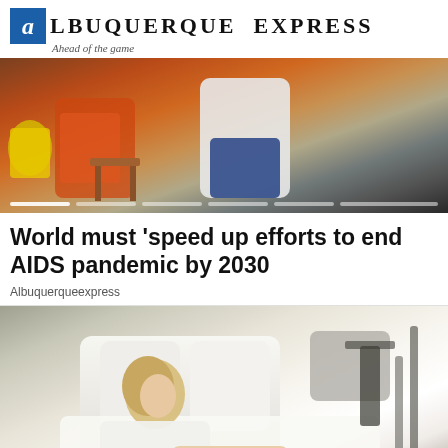Albuquerque Express — Ahead of the game
[Figure (photo): Photograph of two people sitting, one in orange clothing, in a clinical or waiting room setting with white brick wall background.]
World must 'speed up efforts to end AIDS pandemic by 2030
Albuquerqueexpress
[Figure (photo): Photograph of a blonde woman in white clothing leaning over a bed with white pillows and bedding.]